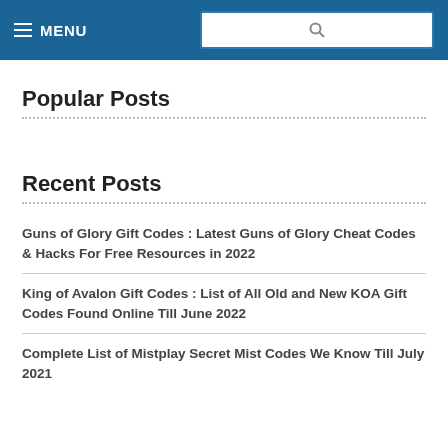MENU
Popular Posts
Recent Posts
Guns of Glory Gift Codes : Latest Guns of Glory Cheat Codes & Hacks For Free Resources in 2022
King of Avalon Gift Codes : List of All Old and New KOA Gift Codes Found Online Till June 2022
Complete List of Mistplay Secret Mist Codes We Know Till July 2021